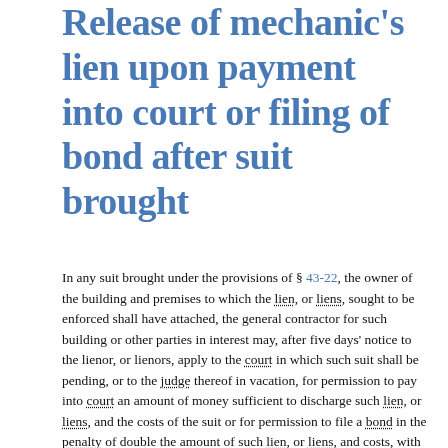Release of mechanic's lien upon payment into court or filing of bond after suit brought
In any suit brought under the provisions of § 43-22, the owner of the building and premises to which the lien, or liens, sought to be enforced shall have attached, the general contractor for such building or other parties in interest may, after five days' notice to the lienor, or lienors, apply to the court in which such suit shall be pending, or to the judge thereof in vacation, for permission to pay into court an amount of money sufficient to discharge such lien, or liens, and the costs of the suit or for permission to file a bond in the penalty of double the amount of such lien, or liens, and costs, with surety to be approved by the court, or judge, conditioned for the payment of such judgment adjudicating the lien or liens to be valid and determining the amount for